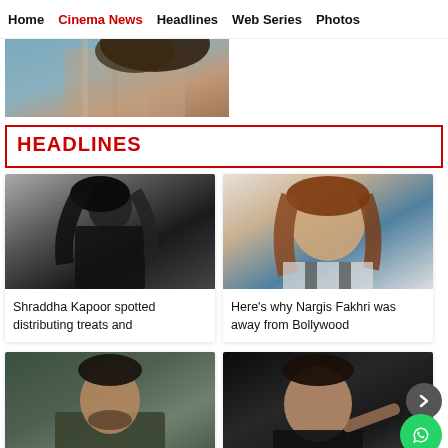Home | Cinema News | Headlines | Web Series | Photos
[Figure (photo): Partial photo of a person with curly hair, cropped at top]
HEADLINES
[Figure (photo): Shraddha Kapoor photo in black outfit with flowing hair]
Shraddha Kapoor spotted distributing treats and
[Figure (photo): Nargis Fakhri photo with auburn hair]
Here's why Nargis Fakhri was away from Bollywood
[Figure (photo): Arshad Warsi photo in dark jacket]
[Figure (photo): Shah Rukh Khan photo in dark outfit pointing]